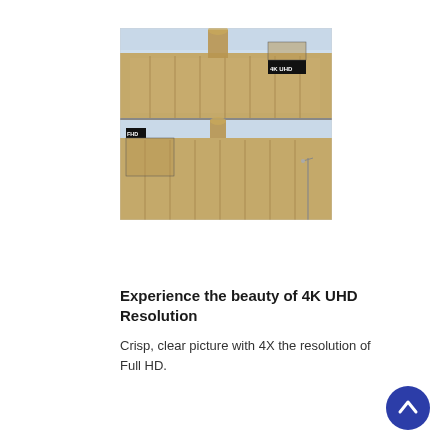[Figure (photo): Comparison of 4K UHD vs FHD resolution showing a European building with a decorative tower. Top image shows the full wide shot with a small inset labeled '4K UHD' in the upper right. Bottom image shows the same scene with a small inset labeled 'FHD' in the upper left, demonstrating lower resolution detail.]
Experience the beauty of 4K UHD Resolution
Crisp, clear picture with 4X the resolution of Full HD.